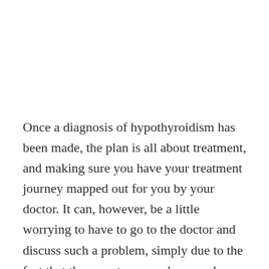Once a diagnosis of hypothyroidism has been made, the plan is all about treatment, and making sure you have your treatment journey mapped out for you by your doctor. It can, however, be a little worrying to have to go to the doctor and discuss such a problem, simply due to the fact that the symptoms can be complex. Knowing as much as you can about the issue is important if you are going to feel confident and able to move forward. Here are some questions (and some answers) you can ask your doctor that